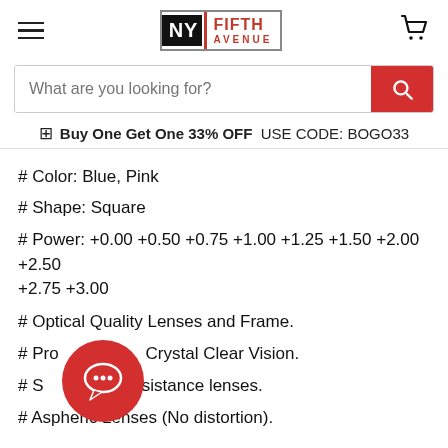NY FIFTH AVENUE
What are you looking for?
Buy One Get One 33% OFF  USE CODE: BOGO33
# Color: Blue, Pink
# Shape: Square
# Power: +0.00 +0.50 +0.75 +1.00 +1.25 +1.50 +2.00 +2.50 +2.75 +3.00
# Optical Quality Lenses and Frame.
# Provides Crystal Clear Vision.
# Scratch Resistance lenses.
# Aspheric Lenses (No distortion).